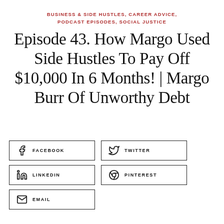BUSINESS & SIDE HUSTLES, CAREER ADVICE, PODCAST EPISODES, SOCIAL JUSTICE
Episode 43. How Margo Used Side Hustles To Pay Off $10,000 In 6 Months! | Margo Burr Of Unworthy Debt
FACEBOOK
TWITTER
LINKEDIN
PINTEREST
EMAIL